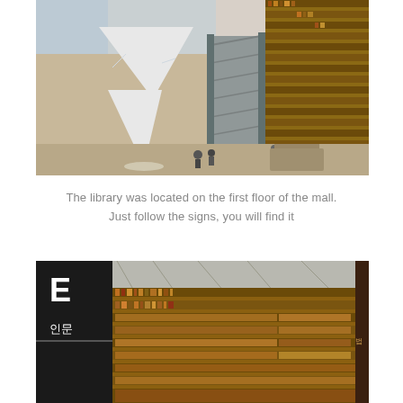[Figure (photo): Interior photo of Starfield Library in COEX Mall, Seoul. Shows a large white Christmas tree on the left, an escalator in the center, and the massive circular bookshelf tower filled with books on the right. A decorative snowflake ornament hangs from the ceiling. People walk on the mall floor and sit around the bookshelf base.]
The library was located on the first floor of the mall. Just follow the signs, you will find it
[Figure (photo): Interior photo of Starfield Library showing bookshelves filled with books. A sign visible on the left shows the letter 'E' and Korean text '인문' (humanities). The curved ceiling panels and rows of books spanning multiple levels are visible.]